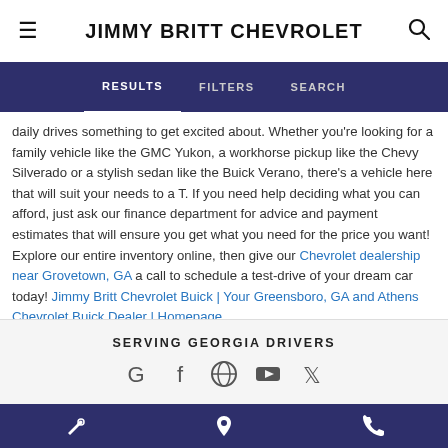JIMMY BRITT CHEVROLET
RESULTS   FILTERS   SEARCH
daily drives something to get excited about. Whether you're looking for a family vehicle like the GMC Yukon, a workhorse pickup like the Chevy Silverado or a stylish sedan like the Buick Verano, there's a vehicle here that will suit your needs to a T. If you need help deciding what you can afford, just ask our finance department for advice and payment estimates that will ensure you get what you need for the price you want! Explore our entire inventory online, then give our Chevrolet dealership near Grovetown, GA a call to schedule a test-drive of your dream car today! Jimmy Britt Chevrolet Buick | Your Greensboro, GA and Athens Chevrolet Buick Dealer | Homepage
SERVING GEORGIA DRIVERS
[Figure (infographic): Social media icons: Google, Facebook, a circular icon, YouTube, Twitter]
[Figure (infographic): Bottom navigation bar with wrench/service icon, map pin/location icon, and phone icon on dark blue background]